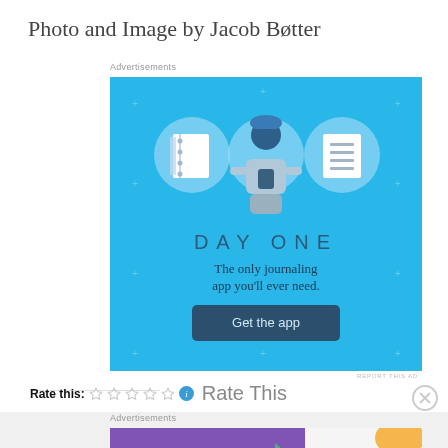Photo and Image by Jacob Bøtter
Advertisements
[Figure (illustration): Day One app advertisement on blue background. Shows three circular icons (notebook, person with phone, list), text 'DAY ONE', 'The only journaling app you'll ever need.' and a dark button 'Get the app']
REPORT THIS AD
Rate this: ☆☆☆☆☆ ℹ Rate This
Advertisements
[Figure (illustration): WooCommerce advertisement: purple background with woo logo and text 'How to start selling subscriptions online']
REPORT THIS AD